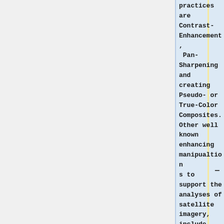practices are Contrast-Enhancement, Pan-Sharpening and creating Pseudo- or True-Color Composites. Other well known enhancing manipualtions to support the analyses of satellite imagery, include deriving